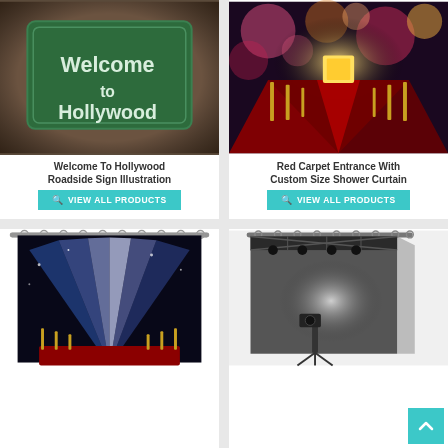[Figure (photo): Welcome To Hollywood Roadside Sign product image]
Welcome To Hollywood Roadside Sign Illustration
VIEW ALL PRODUCTS
[Figure (photo): Red Carpet Entrance With Custom Size Shower Curtain product image]
Red Carpet Entrance With Custom Size Shower Curtain
VIEW ALL PRODUCTS
[Figure (photo): Hollywood red carpet with spotlights shower curtain product image]
[Figure (photo): Photography studio backdrop product image]